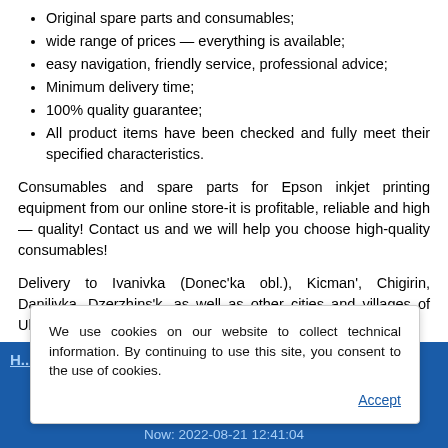Original spare parts and consumables;
wide range of prices — everything is available;
easy navigation, friendly service, professional advice;
Minimum delivery time;
100% quality guarantee;
All product items have been checked and fully meet their specified characteristics.
Consumables and spare parts for Epson inkjet printing equipment from our online store-it is profitable, reliable and high — quality! Contact us and we will help you choose high-quality consumables!
Delivery to Ivanivka (Donec'ka obl.), Kicman', Chigirin, Danilivka, Dzerzhins'k, as well as other cities and villages of Ukraine.
H... List | Device  Now: 2022-08-21 12:41:04
We use cookies on our website to collect technical information. By continuing to use this site, you consent to the use of cookies.